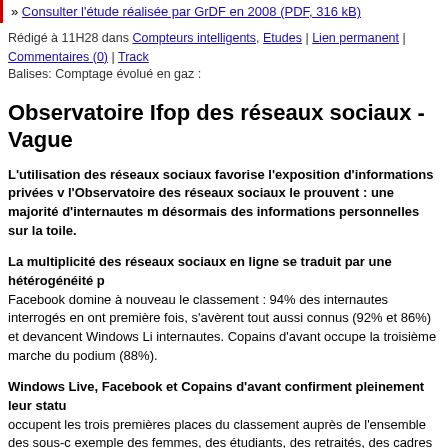» Consulter l'étude réalisée par GrDF en 2008 (PDF, 316 kB)
Rédigé à 11H28 dans Compteurs intelligents, Etudes | Lien permanent | Commentaires (0) | Track
Balises: Comptage évolué en gaz :
Observatoire Ifop des réseaux sociaux - Vague
L'utilisation des réseaux sociaux favorise l'exposition d'informations privées v l'Observatoire des réseaux sociaux le prouvent : une majorité d'internautes m désormais des informations personnelles sur la toile.
La multiplicité des réseaux sociaux en ligne se traduit par une hétérogénéité p Facebook domine à nouveau le classement : 94% des internautes interrogés en ont première fois, s'avèrent tout aussi connus (92% et 86%) et devancent Windows Li internautes. Copains d'avant occupe la troisième marche du podium (88%).
Windows Live, Facebook et Copains d'avant confirment pleinement leur statu occupent les trois premières places du classement auprès de l'ensemble des sous-c exemple des femmes, des étudiants, des retraités, des cadres ou des ouvriers.
[Figure (logo): IFOP logo placeholder image]
Télécharger les résultats de l'étude (pdf, 1605 ko)
Télécharger
Rédigé à 11H28 dans Compteurs intelligents, Etudes | Lien permanent | Commentaires